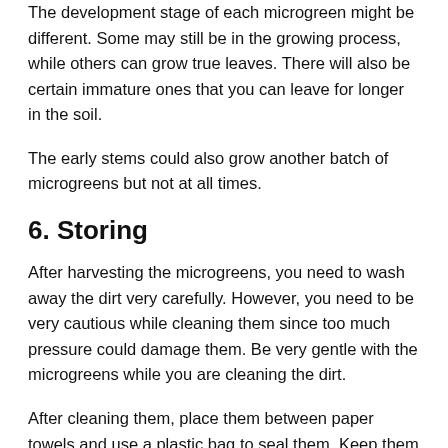The development stage of each microgreen might be different. Some may still be in the growing process, while others can grow true leaves. There will also be certain immature ones that you can leave for longer in the soil.
The early stems could also grow another batch of microgreens but not at all times.
6. Storing
After harvesting the microgreens, you need to wash away the dirt very carefully. However, you need to be very cautious while cleaning them since too much pressure could damage them. Be very gentle with the microgreens while you are cleaning the dirt.
After cleaning them, place them between paper towels and use a plastic bag to seal them. Keep them in the fridge like